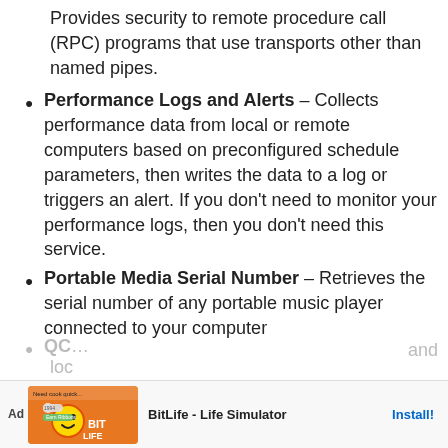Provides security to remote procedure call (RPC) programs that use transports other than named pipes.
Performance Logs and Alerts – Collects performance data from local or remote computers based on preconfigured schedule parameters, then writes the data to a log or triggers an alert. If you don't need to monitor your performance logs, then you don't need this service.
Portable Media Serial Number – Retrieves the serial number of any portable music player connected to your computer
QC... and loc... for
[Figure (other): Advertisement banner for BitLife - Life Simulator app with install button]